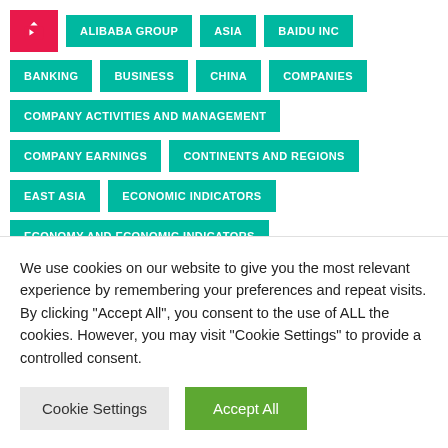ALIBABA GROUP
ASIA
BAIDU INC
BANKING
BUSINESS
CHINA
COMPANIES
COMPANY ACTIVITIES AND MANAGEMENT
COMPANY EARNINGS
CONTINENTS AND REGIONS
EAST ASIA
ECONOMIC INDICATORS
ECONOMY AND ECONOMIC INDICATORS
ECONOMY AND TRADE
FINANCE AND INVESTMENTS
We use cookies on our website to give you the most relevant experience by remembering your preferences and repeat visits. By clicking “Accept All”, you consent to the use of ALL the cookies. However, you may visit "Cookie Settings" to provide a controlled consent.